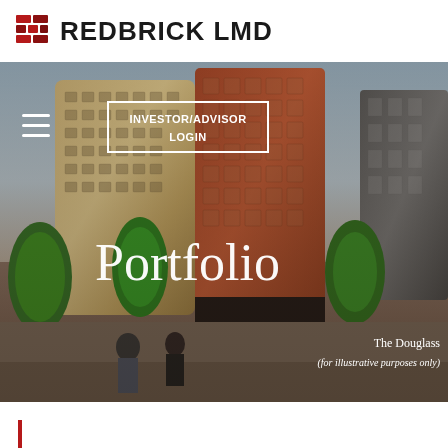[Figure (logo): RedBrick LMD logo with red brick icon and bold text]
[Figure (photo): Architectural rendering of The Douglass mixed-use building with street scene, trees, and pedestrians. Hero image with Portfolio title overlay and Investor/Advisor Login button.]
Portfolio
The Douglass
(for illustrative purposes only)